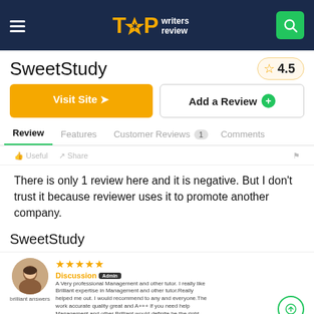TOP writers review
SweetStudy
4.5
Visit Site
Add a Review
Review | Features | Customer Reviews 1 | Comments
Useful  Share
There is only 1 review here and it is negative. But I don't trust it because reviewer uses it to promote another company.
SweetStudy
Discussion
A Very professional Management and other tutor. I really like Brilliant expertise in Management and other tutor.Really helped me out. I would recommend to any and everyone.The work accurate quality great and A+++ If you need help Management and other Brilliant would definite be the right person
[Figure (illustration): Avatar photo of reviewer labeled 'brilliant answers']
★★★★★
★★★★★